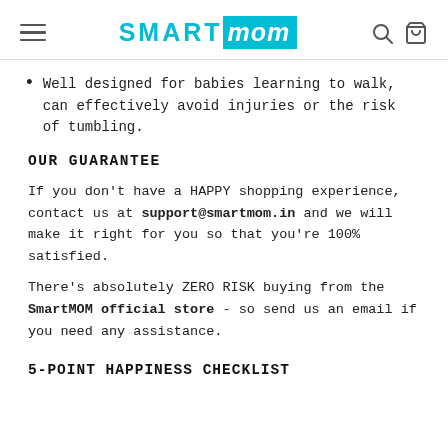SMART mom
Well designed for babies learning to walk, can effectively avoid injuries or the risk of tumbling.
OUR GUARANTEE
If you don't have a HAPPY shopping experience, contact us at support@smartmom.in and we will make it right for you so that you're 100% satisfied.
There's absolutely ZERO RISK buying from the SmartMOM official store - so send us an email if you need any assistance.
5-POINT HAPPINESS CHECKLIST